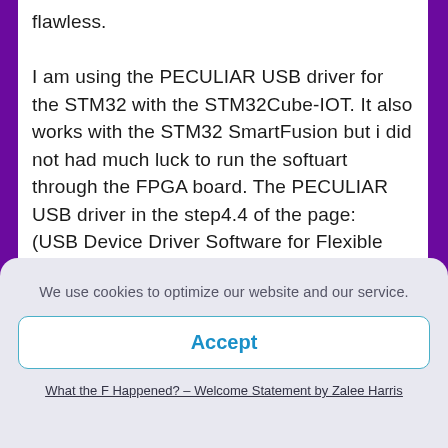flawless.
I am using the PECULIAR USB driver for the STM32 with the STM32Cube-IOT. It also works with the STM32 SmartFusion but i did not had much luck to run the softuart through the FPGA board. The PECULIAR USB driver in the step4.4 of the page:
(USB Device Driver Software for Flexible USB device Drivers)
What you need:
– STM32Cube-IOT, I have used the STM32F10xx-micro.
We use cookies to optimize our website and our service.
Accept
What the F Happened? – Welcome Statement by Zalee Harris